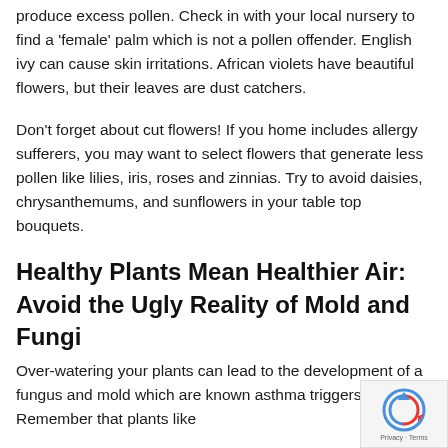produce excess pollen. Check in with your local nursery to find a 'female' palm which is not a pollen offender. English ivy can cause skin irritations. African violets have beautiful flowers, but their leaves are dust catchers.
Don't forget about cut flowers! If you home includes allergy sufferers, you may want to select flowers that generate less pollen like lilies, iris, roses and zinnias. Try to avoid daisies, chrysanthemums, and sunflowers in your table top bouquets.
Healthy Plants Mean Healthier Air: Avoid the Ugly Reality of Mold and Fungi
Over-watering your plants can lead to the development of a fungus and mold which are known asthma triggers. Remember that plants like